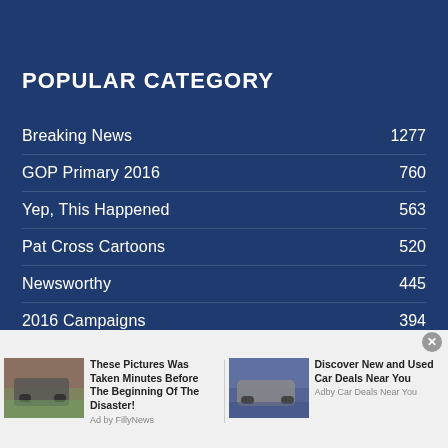POPULAR CATEGORY
Breaking News 1277
GOP Primary 2016 760
Yep, This Happened 563
Pat Cross Cartoons 520
Newsworthy 445
2016 Campaigns 394
The Briefing 368
Issue Watch 328
[Figure (infographic): Advertisement banner with two ads side by side. Left ad: image of truck on flooded road with text 'These Pictures Was Taken Minutes Before The Beginning Of The Disaster!' Ad by FillyNews. Right ad: image of SUV with text 'Discover New and Used Car Deals Near You' Adby Car Deals Near You.]